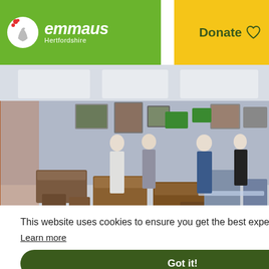emmaus Hertfordshire | Donate
[Figure (photo): Interior of an Emmaus Hertfordshire charity shop showing furniture, vintage trunks, artwork and shoppers browsing items.]
This website uses cookies to ensure you get the best experience on our website.
Learn more
Got it!
e rely on the generous donations of members of the public.